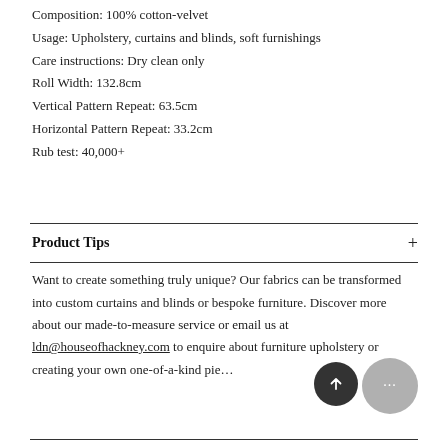Composition: 100% cotton-velvet
Usage: Upholstery, curtains and blinds, soft furnishings
Care instructions: Dry clean only
Roll Width: 132.8cm
Vertical Pattern Repeat: 63.5cm
Horizontal Pattern Repeat: 33.2cm
Rub test: 40,000+
Product Tips
Want to create something truly unique? Our fabrics can be transformed into custom curtains and blinds or bespoke furniture. Discover more about our made-to-measure service or email us at ldn@houseofhackney.com to enquire about furniture upholstery or creating your own one-of-a-kind piece.